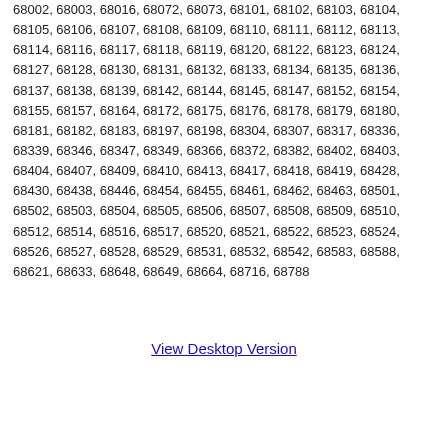68002, 68003, 68016, 68072, 68073, 68101, 68102, 68103, 68104, 68105, 68106, 68107, 68108, 68109, 68110, 68111, 68112, 68113, 68114, 68116, 68117, 68118, 68119, 68120, 68122, 68123, 68124, 68127, 68128, 68130, 68131, 68132, 68133, 68134, 68135, 68136, 68137, 68138, 68139, 68142, 68144, 68145, 68147, 68152, 68154, 68155, 68157, 68164, 68172, 68175, 68176, 68178, 68179, 68180, 68181, 68182, 68183, 68197, 68198, 68304, 68307, 68317, 68336, 68339, 68346, 68347, 68349, 68366, 68372, 68382, 68402, 68403, 68404, 68407, 68409, 68410, 68413, 68417, 68418, 68419, 68428, 68430, 68438, 68446, 68454, 68455, 68461, 68462, 68463, 68501, 68502, 68503, 68504, 68505, 68506, 68507, 68508, 68509, 68510, 68512, 68514, 68516, 68517, 68520, 68521, 68522, 68523, 68524, 68526, 68527, 68528, 68529, 68531, 68532, 68542, 68583, 68588, 68621, 68633, 68648, 68649, 68664, 68716, 68788
View Desktop Version